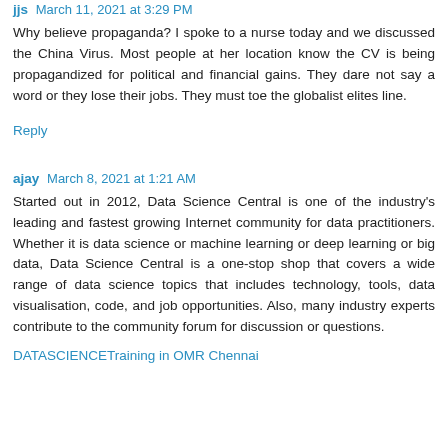jjs March 11, 2021 at 3:29 PM
Why believe propaganda? I spoke to a nurse today and we discussed the China Virus. Most people at her location know the CV is being propagandized for political and financial gains. They dare not say a word or they lose their jobs. They must toe the globalist elites line.
Reply
ajay March 8, 2021 at 1:21 AM
Started out in 2012, Data Science Central is one of the industry's leading and fastest growing Internet community for data practitioners. Whether it is data science or machine learning or deep learning or big data, Data Science Central is a one-stop shop that covers a wide range of data science topics that includes technology, tools, data visualisation, code, and job opportunities. Also, many industry experts contribute to the community forum for discussion or questions.
DATASCIENCETraining in OMR Chennai